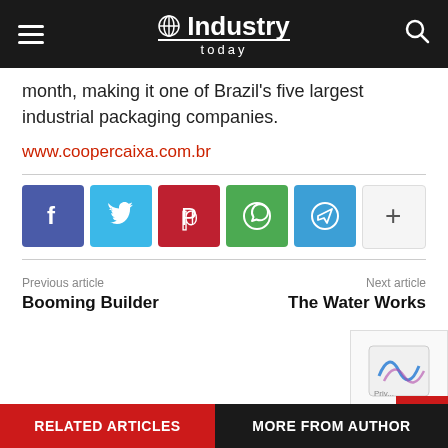Industry Today
month, making it one of Brazil's five largest industrial packaging companies.
www.coopercaixa.com.br
[Figure (infographic): Social sharing buttons: Facebook, Twitter, Pinterest, WhatsApp, Telegram, and a plus/more button]
Previous article
Booming Builder
Next article
The Water Works
RELATED ARTICLES   MORE FROM AUTHOR